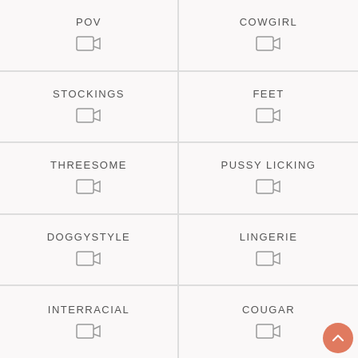POV
COWGIRL
STOCKINGS
FEET
THREESOME
PUSSY LICKING
DOGGYSTYLE
LINGERIE
INTERRACIAL
COUGAR